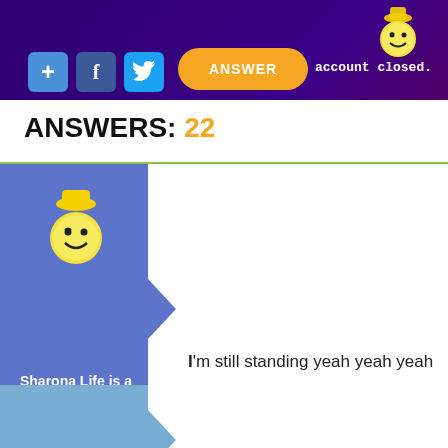[Figure (screenshot): Website header banner with social buttons (plus, Facebook, Twitter), an orange ANSWER button, a smiley mascot logo, and 'account closed.' text on dark purple background]
ANSWERS: 22
I'm still standing yeah yeah yeah
No comments
Sharona Life is a Tale Told by an Idiot
Whoa...6, 5, 4, DUCK! crap make that a 2